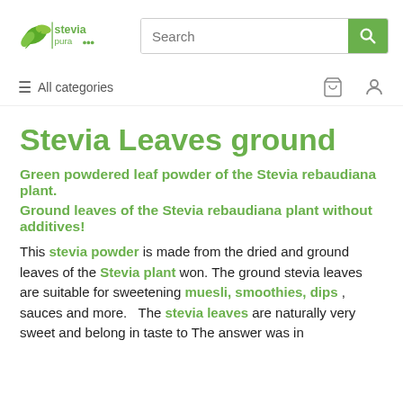stevia pura logo and search bar
≡ All categories
Stevia Leaves ground
Green powdered leaf powder of the Stevia rebaudiana plant.
Ground leaves of the Stevia rebaudiana plant without additives!
This stevia powder is made from the dried and ground leaves of the Stevia plant won. The ground stevia leaves are suitable for sweetening muesli, smoothies, dips , sauces and more.  The stevia leaves are naturally very sweet and belong in taste to The answer was in...